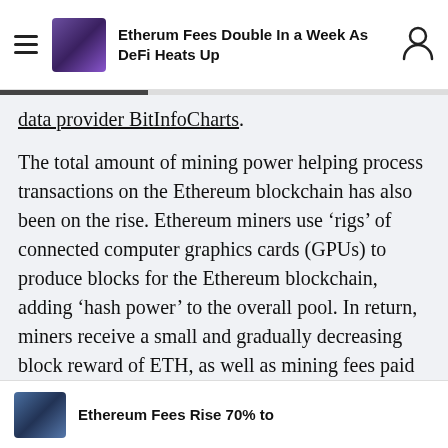Etherum Fees Double In a Week As DeFi Heats Up
data provider BitInfoCharts.
The total amount of mining power helping process transactions on the Ethereum blockchain has also been on the rise. Ethereum miners use ‘rigs’ of connected computer graphics cards (GPUs) to produce blocks for the Ethereum blockchain, adding ‘hash power’ to the overall pool. In return, miners receive a small and gradually decreasing block reward of ETH, as well as mining fees paid by users to use the network.
Ethereum Fees Rise 70% to